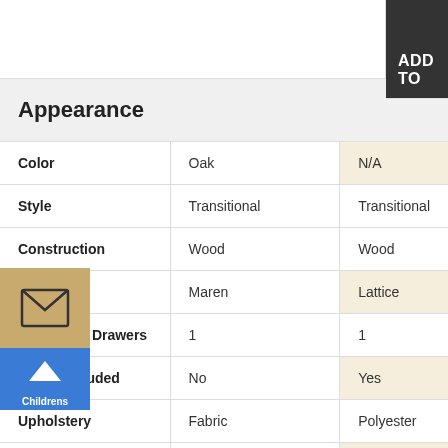|  |  | ADD TO |
| --- | --- | --- |
| Color | Oak | N/A |
| Style | Transitional | Transitional |
| Construction | Wood | Wood |
| Series | Maren | Lattice |
| Number of Drawers | 1 | 1 |
| Mirror Included | No | Yes |
| Upholstery | Fabric | Polyester |
| Hand Painted | No | N/A |
| Distressed Finish | No | No |
| Childrens | No | N/A |